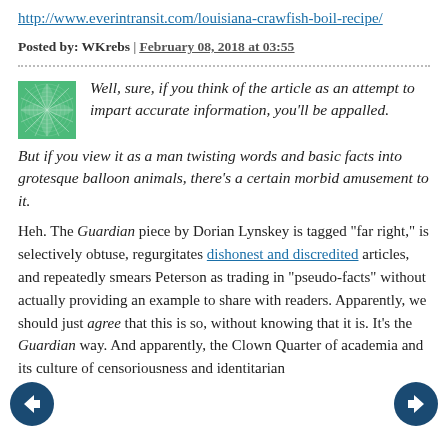http://www.everintransit.com/louisiana-crawfish-boil-recipe/
Posted by: WKrebs | February 08, 2018 at 03:55
Well, sure, if you think of the article as an attempt to impart accurate information, you'll be appalled. But if you view it as a man twisting words and basic facts into grotesque balloon animals, there's a certain morbid amusement to it.
Heh. The Guardian piece by Dorian Lynskey is tagged “far right,” is selectively obtuse, regurgitates dishonest and discredited articles, and repeatedly smears Peterson as trading in “pseudo-facts” without actually providing an example to share with readers. Apparently, we should just agree that this is so, without knowing that it is. It’s the Guardian way. And apparently, the Clown Quarter of academia and its culture of censoriousness and identitarian
[Figure (other): Left navigation arrow button]
[Figure (other): Right navigation arrow button]